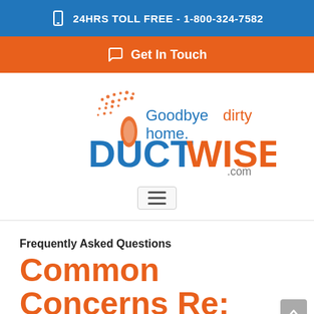24HRS TOLL FREE - 1-800-324-7582
Get In Touch
[Figure (logo): DuctWise.com logo with tagline 'Goodbye dirty home.' featuring a stylized duct brush graphic with orange dots and blue/orange text.]
Frequently Asked Questions
Common Concerns Re: